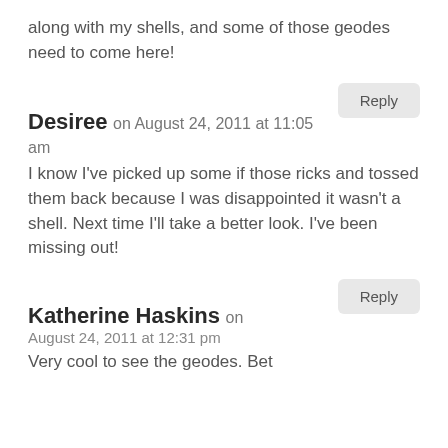along with my shells, and some of those geodes need to come here!
Reply
Desiree on August 24, 2011 at 11:05 am
I know I've picked up some if those ricks and tossed them back because I was disappointed it wasn't a shell. Next time I'll take a better look. I've been missing out!
Reply
Katherine Haskins on August 24, 2011 at 12:31 pm
Very cool to see the geodes. Bet